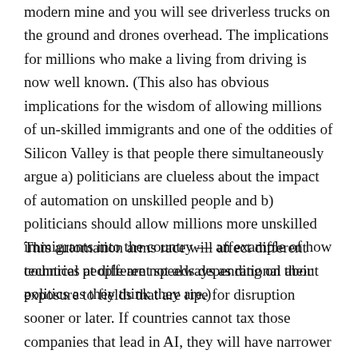modern mine and you will see driverless trucks on the ground and drones overhead. The implications for millions who make a living from driving is now well known. (This also has obvious implications for the wisdom of allowing millions of un-skilled immigrants and one of the oddities of Silicon Valley is that people there simultaneously argue a) politicians are clueless about the impact of automation on unskilled people and b) politicians should allow millions more unskilled immigrants into the country — an example of how technical people are not always as rational about politics as they think they are.)
This automation arms race will affect different countries at different speeds depending on their exposure to fields that are ripe for disruption sooner or later. If countries cannot tax those companies that lead in AI, they will have narrower options. They may even be forced into a sort of colony status. Those who think this is an exaggeration should look at China's recent deals in Africa where countries are handing over vast amounts of data to China on extremely unfavourable terms. Huge server farms in